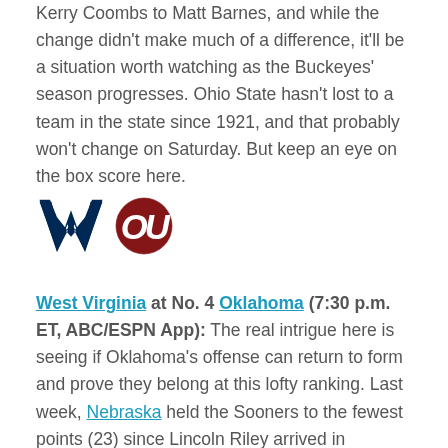Kerry Coombs to Matt Barnes, and while the change didn't make much of a difference, it'll be a situation worth watching as the Buckeyes' season progresses. Ohio State hasn't lost to a team in the state since 1921, and that probably won't change on Saturday. But keep an eye on the box score here.
[Figure (logo): West Virginia Mountaineers (flying WV) logo in navy blue and Oklahoma Sooners (OU) logo in crimson red, side by side]
West Virginia at No. 4 Oklahoma (7:30 p.m. ET, ABC/ESPN App): The real intrigue here is seeing if Oklahoma's offense can return to form and prove they belong at this lofty ranking. Last week, Nebraska held the Sooners to the fewest points (23) since Lincoln Riley arrived in Norman. Spencer Rattler, the preseason favorite for the Heisman, looks to have fallen from contention. But none of that will